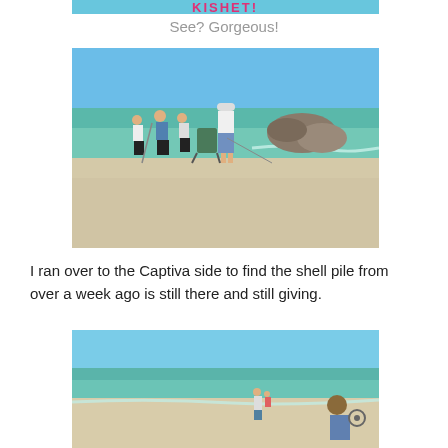[Figure (photo): Partial top of a photo with pink text 'KISHET!' on colorful background, cropped at top edge]
See? Gorgeous!
[Figure (photo): Beach scene with people standing near rocky jetty on sandy shell-covered beach with turquoise ocean water and blue sky. A person in white shirt and blue shorts stands near a beach chair.]
I ran over to the Captiva side to find the shell pile from over a week ago is still there and still giving.
[Figure (photo): Beach scene showing turquoise ocean water, sandy beach, a person standing on the shore, and another person with a hat and bicycle in the foreground right.]